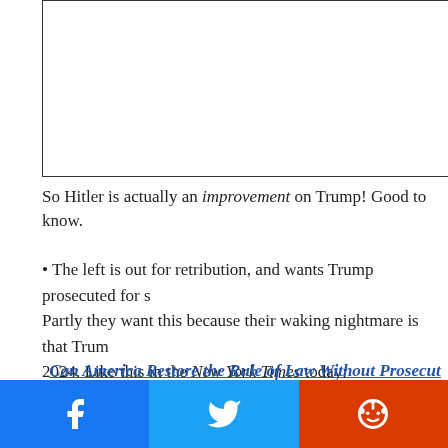[Figure (other): Empty bordered image placeholder box]
So Hitler is actually an improvement on Trump! Good to know.
The left is out for retribution, and wants Trump prosecuted for s… Partly they want this because their waking nightmare is that Trum… 2024. Like this in the New York Times today:
Can America Restore the Rule of Law Without Prosecut…
there is nothing to protect a former president from pr…